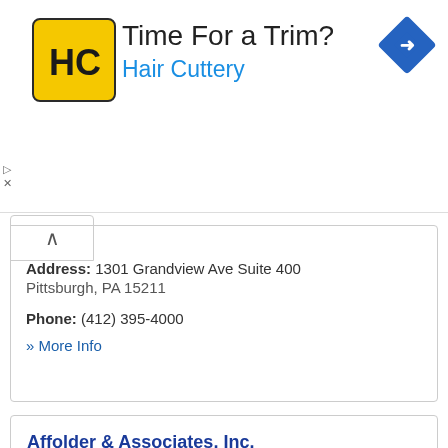[Figure (logo): Hair Cuttery advertisement banner with HC logo, 'Time For a Trim?' headline, 'Hair Cuttery' brand name in blue, and a blue navigation diamond icon]
Address: 1301 Grandview Ave Suite 400
Pittsburgh, PA 15211
Phone: (412) 395-4000
» More Info
Affolder & Associates, Inc.
Address: 8700 Perry Highway
Pittsburgh, PA 15237
Phone: (412) 366-9100
» More Info